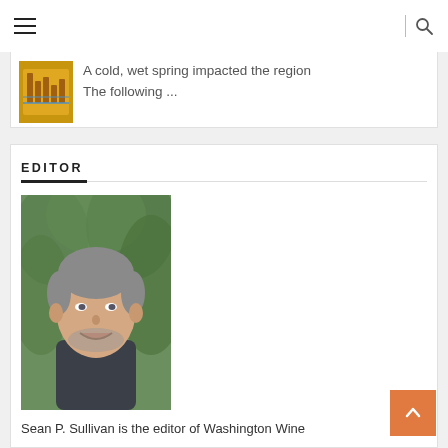Navigation bar with hamburger menu and search icon
A cold, wet spring impacted the region The following ...
EDITOR
[Figure (photo): Headshot of Sean P. Sullivan, a middle-aged man with short gray hair and a beard, smiling, wearing a dark polo shirt, with green foliage in the background.]
Sean P. Sullivan is the editor of Washington Wine